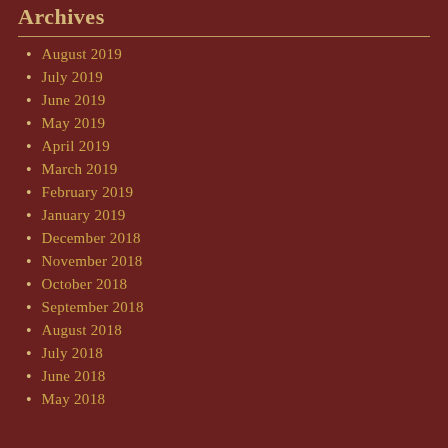Archives
August 2019
July 2019
June 2019
May 2019
April 2019
March 2019
February 2019
January 2019
December 2018
November 2018
October 2018
September 2018
August 2018
July 2018
June 2018
May 2018